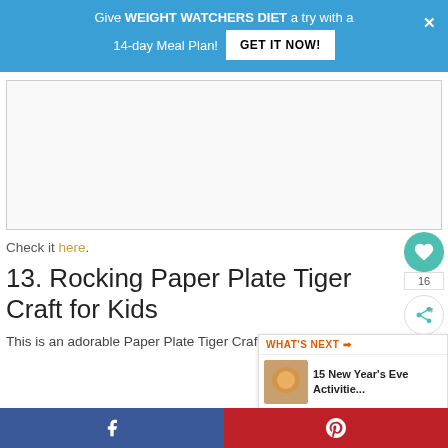Give WEIGHT WATCHERS DIET a try with a 14-day Meal Plan! GET IT NOW!
[Figure (other): Advertisement placeholder area (white box with grey border)]
Check it here.
13. Rocking Paper Plate Tiger Craft for Kids
This is an adorable Paper Plate Tiger Craft
[Figure (other): What's Next panel showing '15 New Year's Eve Activitie...' with thumbnail]
Facebook share | Pinterest share